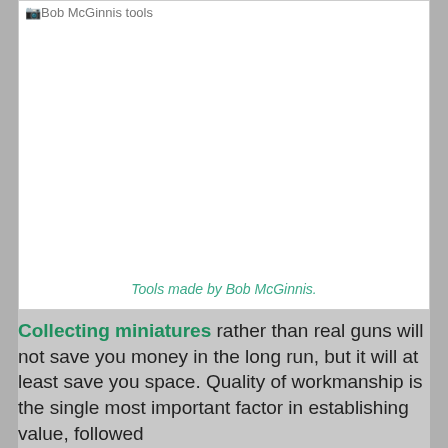[Figure (photo): Image placeholder showing 'Bob McGinnis tools' with a caption 'Tools made by Bob McGinnis.' at the bottom of the image box.]
Tools made by Bob McGinnis.
Collecting miniatures rather than real guns will not save you money in the long run, but it will at least save you space. Quality of workmanship is the single most important factor in establishing value, followed